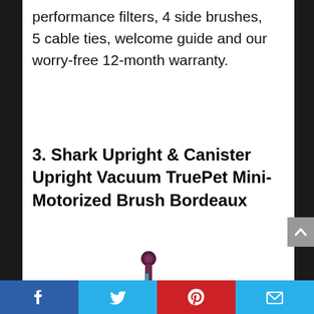performance filters, 4 side brushes, 5 cable ties, welcome guide and our worry-free 12-month warranty.
3. Shark Upright & Canister Upright Vacuum TruePet Mini-Motorized Brush Bordeaux
[Figure (photo): Product photo of a Shark upright vacuum cleaner in bordeaux/dark red color, shown vertically]
Social share bar with Facebook, Twitter, Pinterest, and Email buttons